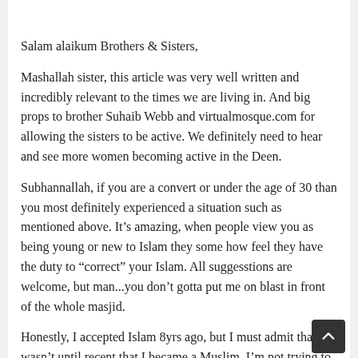Salam alaikum Brothers & Sisters,
Mashallah sister, this article was very well written and incredibly relevant to the times we are living in. And big props to brother Suhaib Webb and virtualmosque.com for allowing the sisters to be active. We definitely need to hear and see more women becoming active in the Deen.
Subhannallah, if you are a convert or under the age of 30 than you most definitely experienced a situation such as mentioned above. It’s amazing, when people view you as being young or new to Islam they some how feel they have the duty to “correct” your Islam. All suggesstions are welcome, but man...you don’t gotta put me on blast in front of the whole masjid.
Honestly, I accepted Islam 8yrs ago, but I must admit that it wasn’t until recent that I became a Muslim. I’m not trying to air my “dirty laundry”, but I’m just being real. The Muslim Community really needs to